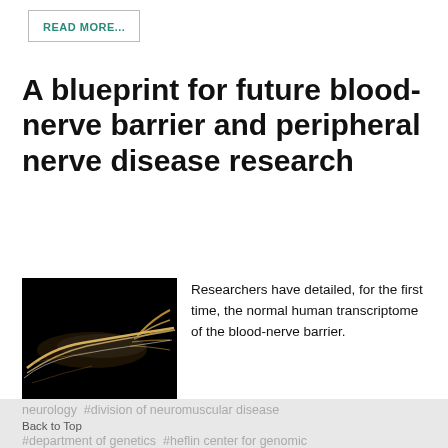READ MORE...
A blueprint for future blood-nerve barrier and peripheral nerve disease research
[Figure (photo): Medical/scientific illustration of peripheral nerve on black background, showing golden/white nerve fibers resembling a hand with extended finger]
Researchers have detailed, for the first time, the normal human transcriptome of the blood-nerve barrier.
Tagged under  #school of medicine  #department of neurology  #division of neuromuscular disease  #department of genetics  #heflin center for genomic
Back to Top